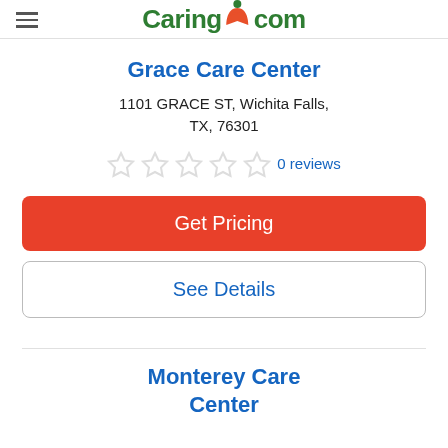Caring.com
Grace Care Center
1101 GRACE ST, Wichita Falls, TX, 76301
0 reviews
Get Pricing
See Details
Monterey Care Center